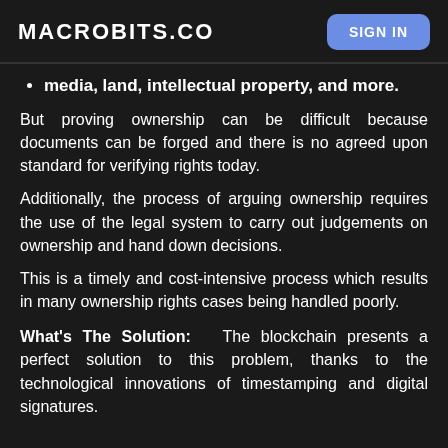MACROBITS.CO
media, land, intellectual property, and more.
But proving ownership can be difficult because documents can be forged and there is no agreed upon standard for verifying rights today.
Additionally, the process of arguing ownership requires the use of the legal system to carry out judgements on ownership and hand down decisions.
This is a timely and cost-intensive process which results in many ownership rights cases being handled poorly.
What's The Solution:  The blockchain presents a perfect solution to this problem, thanks to the technological innovations of timestamping and digital signatures.